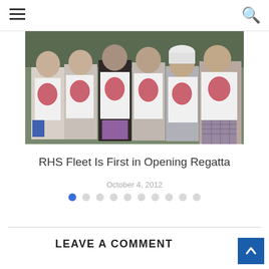Navigation menu and search icons
[Figure (photo): Group of young women wearing white sailing/regatta jerseys with a circular logo, standing together outdoors in cold weather clothing]
RHS Fleet Is First in Opening Regatta
October 4, 2012
[Figure (other): Carousel navigation dots — 10 dots, first one filled blue, rest outlined gray]
LEAVE A COMMENT